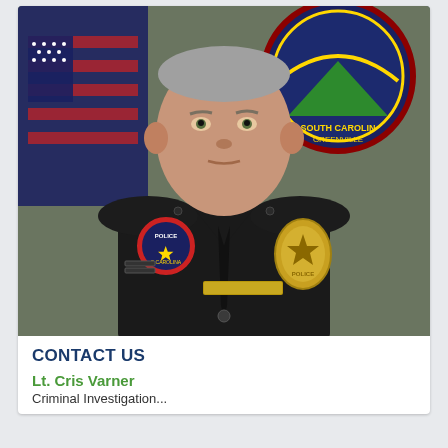[Figure (photo): Official portrait of a police lieutenant in black uniform with badge and police patch, standing in front of an American flag and a South Carolina state seal. The officer is a middle-aged white male with short gray hair, wearing a black police uniform with a gold badge on the right chest, a police patch on the left shoulder, a name plate, and a tie.]
CONTACT US
Lt. Cris Varner
Criminal Investigation...